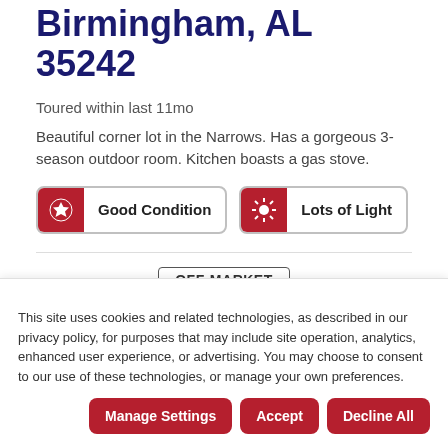Birmingham, AL 35242
Toured within last 11mo
Beautiful corner lot in the Narrows. Has a gorgeous 3-season outdoor room. Kitchen boasts a gas stove.
Good Condition | Lots of Light
OFF-MARKET
203 HIDDEN RIDGE DRIVE Odenville, AL 35120
This site uses cookies and related technologies, as described in our privacy policy, for purposes that may include site operation, analytics, enhanced user experience, or advertising. You may choose to consent to our use of these technologies, or manage your own preferences.
Manage Settings | Accept | Decline All